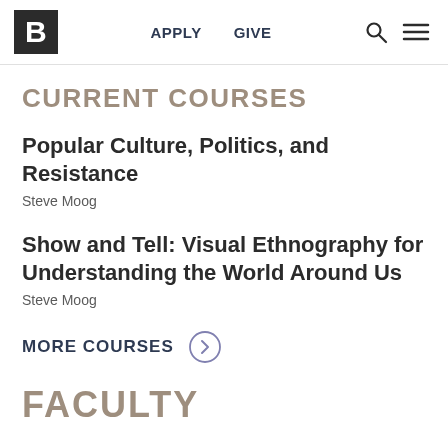B | APPLY  GIVE  [search] [menu]
CURRENT COURSES
Popular Culture, Politics, and Resistance
Steve Moog
Show and Tell: Visual Ethnography for Understanding the World Around Us
Steve Moog
MORE COURSES
FACULTY